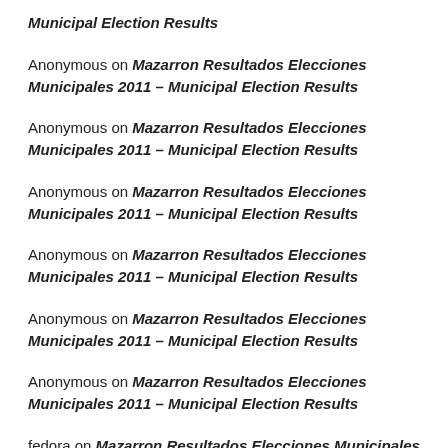Municipal Election Results
Anonymous on Mazarron Resultados Elecciones Municipales 2011 – Municipal Election Results
Anonymous on Mazarron Resultados Elecciones Municipales 2011 – Municipal Election Results
Anonymous on Mazarron Resultados Elecciones Municipales 2011 – Municipal Election Results
Anonymous on Mazarron Resultados Elecciones Municipales 2011 – Municipal Election Results
Anonymous on Mazarron Resultados Elecciones Municipales 2011 – Municipal Election Results
Anonymous on Mazarron Resultados Elecciones Municipales 2011 – Municipal Election Results
fedora on Mazarron Resultados Elecciones Municipales 2011 – Municipal Election Results
fedora on Mazarron Resultados Elecciones Municipales 2011 –